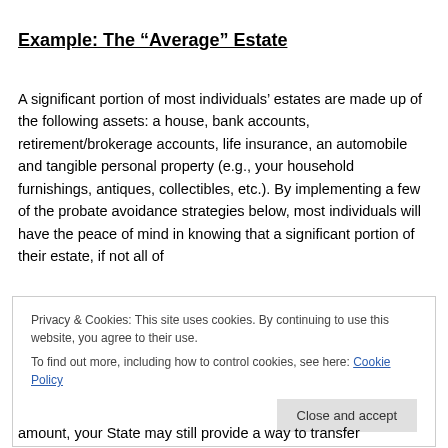Example: The “Average” Estate
A significant portion of most individuals’ estates are made up of the following assets: a house, bank accounts, retirement/brokerage accounts, life insurance, an automobile and tangible personal property (e.g., your household furnishings, antiques, collectibles, etc.). By implementing a few of the probate avoidance strategies below, most individuals will have the peace of mind in knowing that a significant portion of their estate, if not all of
Privacy & Cookies: This site uses cookies. By continuing to use this website, you agree to their use.
To find out more, including how to control cookies, see here: Cookie Policy
Close and accept
amount, your State may still provide a way to transfer